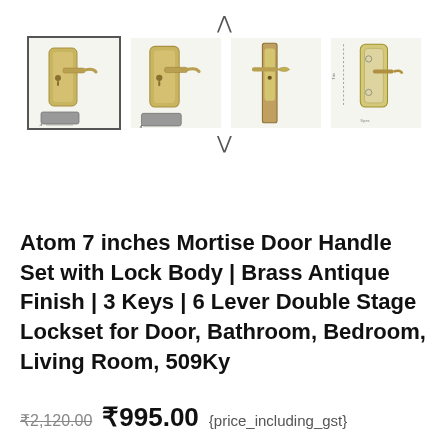[Figure (photo): Four product thumbnail images of Atom Mortise Door Handle Set with Lock Body in Brass Antique Finish, shown from different angles, with navigation arrows above and below. First thumbnail is selected with a border.]
Atom 7 inches Mortise Door Handle Set with Lock Body | Brass Antique Finish | 3 Keys | 6 Lever Double Stage Lockset for Door, Bathroom, Bedroom, Living Room, 509Ky
₹2,120.00 ₹995.00 {price_including_gst}